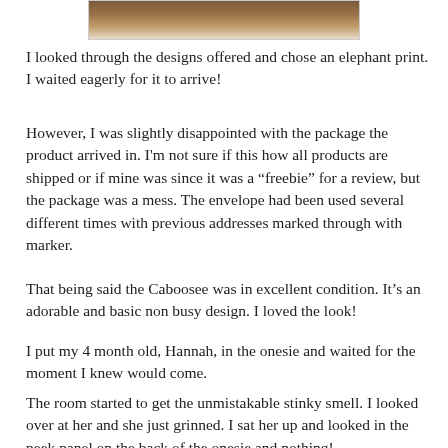[Figure (photo): Partial photo of a baby clothing item, brown/tan fabric visible at top of page]
I looked through the designs offered and chose an elephant print. I waited eagerly for it to arrive!
However, I was slightly disappointed with the package the product arrived in. I'm not sure if this how all products are shipped or if mine was since it was a “freebie” for a review, but the package was a mess. The envelope had been used several different times with previous addresses marked through with marker.
That being said the Caboosee was in excellent condition. It’s an adorable and basic non busy design. I loved the look!
I put my 4 month old, Hannah, in the onesie and waited for the moment I knew would come.
The room started to get the unmistakable stinky smell. I looked over at her and she just grinned. I sat her up and looked in the peek panel on the back of the onesie and nothing!